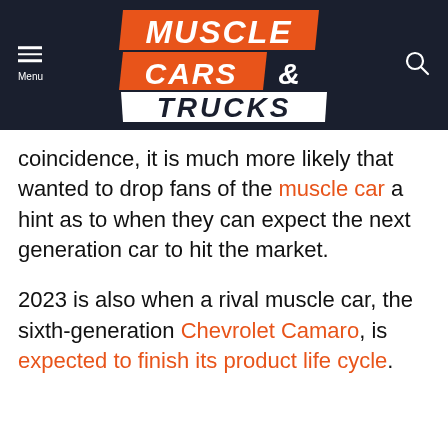Muscle Cars & Trucks
coincidence, it is much more likely that wanted to drop fans of the muscle car a hint as to when they can expect the next generation car to hit the market.
2023 is also when a rival muscle car, the sixth-generation Chevrolet Camaro, is expected to finish its product life cycle.